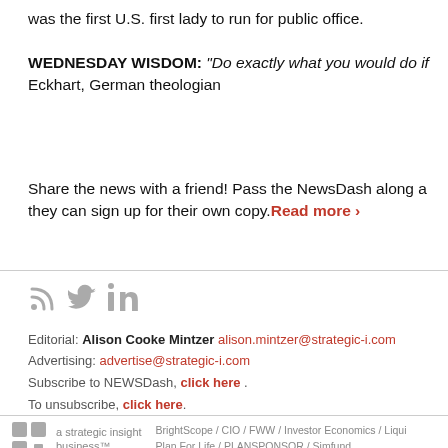was the first U.S. first lady to run for public office.
WEDNESDAY WISDOM: “Do exactly what you would do if you felt most secure.” — Meister Eckhart, German theologian
Share the news with a friend! Pass the NewsDash along and they can sign up for their own copy. Read more ›
Editorial: Alison Cooke Mintzer alison.mintzer@strategic-i.com
Advertising: advertise@strategic-i.com
Subscribe to NEWSDash, click here .
To unsubscribe, click here.
BrightScope / CIO / FWW / Investor Economics / Liquidity / PLANSPONSOR / Simfund